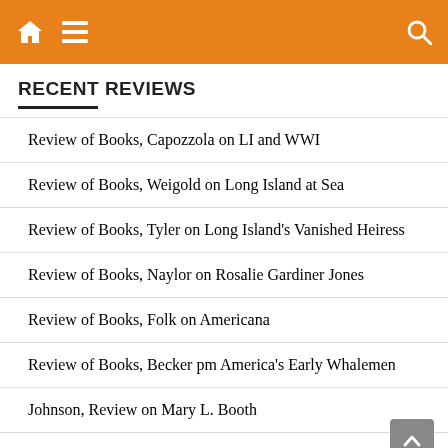Navigation header with home, menu, and search icons
RECENT REVIEWS
Review of Books, Capozzola on LI and WWI
Review of Books, Weigold on Long Island at Sea
Review of Books, Tyler on Long Island's Vanished Heiress
Review of Books, Naylor on Rosalie Gardiner Jones
Review of Books, Folk on Americana
Review of Books, Becker pm America's Early Whalemen
Johnson, Review on Mary L. Booth
Johnson Review, Long Island Beaches
Ruff Senior, Find Island from Related Moore (Review)